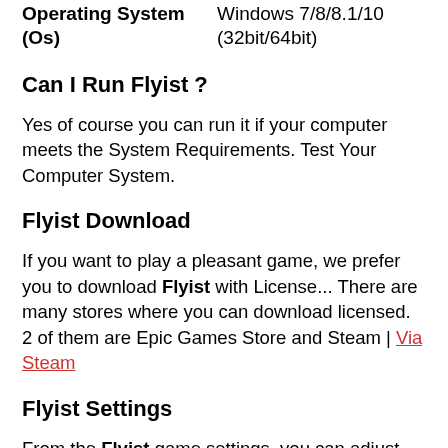| Operating System (Os) | Windows 7/8/8.1/10 (32bit/64bit) |
| --- | --- |
Can I Run Flyist ?
Yes of course you can run it if your computer meets the System Requirements. Test Your Computer System.
Flyist Download
If you want to play a pleasant game, we prefer you to download Flyist with License... There are many stores where you can download licensed. 2 of them are Epic Games Store and Steam | Via Steam
Flyist Settings
From the Flyist game settings, you can adjust the texture quality, shadows, sharpening and game